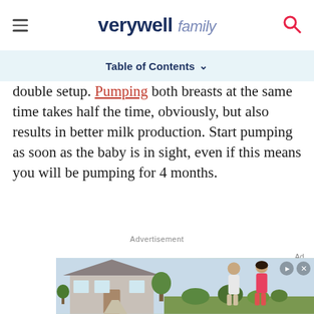verywell family
Table of Contents
double setup. Pumping both breasts at the same time takes half the time, obviously, but also results in better milk production. Start pumping as soon as the baby is in sight, even if this means you will be pumping for 4 months.
Advertisement
[Figure (photo): Advertisement banner showing a couple standing in front of a house with a play button and close controls.]